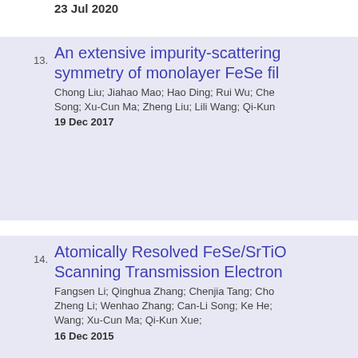23 Jul 2020
13. An extensive impurity-scattering symmetry of monolayer FeSe fil
Chong Liu; Jiahao Mao; Hao Ding; Rui Wu; Che Song; Xu-Cun Ma; Zheng Liu; Lili Wang; Qi-Kun
19 Dec 2017
14. Atomically Resolved FeSe/SrTiO Scanning Transmission Electron
Fangsen Li; Qinghua Zhang; Chenjia Tang; Cho Zheng Li; Wenhao Zhang; Can-Li Song; Ke He; Wang; Xu-Cun Ma; Qi-Kun Xue;
16 Dec 2015
15. Unconventional vortex core stru superconducting Ga islands
Huimin Zhang; Zi-Xiang Li; Junping Peng; Jiaqi C Shuaihua Ji; Xi Chen; Hong Yao; Xucun Ma; Qi-K
21 Jan 2015
16. Testing modified gravity models observations
Wen-Shuai Zhang; Cheng Cheng; Qing-Guo Hua